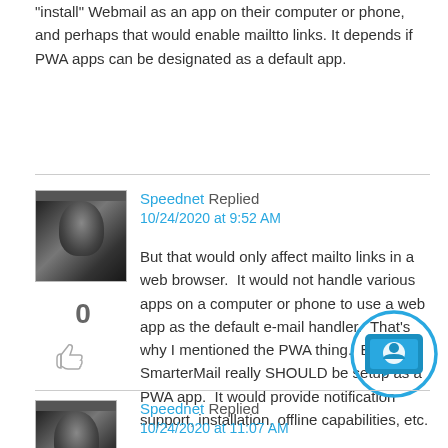"install" Webmail as an app on their computer or phone, and perhaps that would enable mailtto links. It depends if PWA apps can be designated as a default app.
Speednet Replied
10/24/2020 at 9:52 AM
But that would only affect mailto links in a web browser.  It would not handle various apps on a computer or phone to use a web app as the default e-mail handler.  That's why I mentioned the PWA thing.  Besides, SmarterMail really SHOULD be setup as a PWA app.  It would provide notification support, installation, offline capabilities, etc.
Speednet Replied
10/24/2020 at 11:07 AM